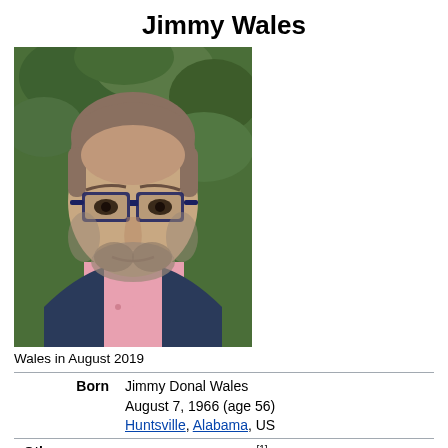Jimmy Wales
[Figure (photo): Portrait photo of Jimmy Wales wearing blue-rimmed glasses and a pink shirt with a dark blazer, set against a green leafy background. Photo taken in August 2019.]
Wales in August 2019
| Born | Jimmy Donal Wales
August 7, 1966 (age 56)
Huntsville, Alabama, US |
| Other names | Jimbo (screen name)[1] |